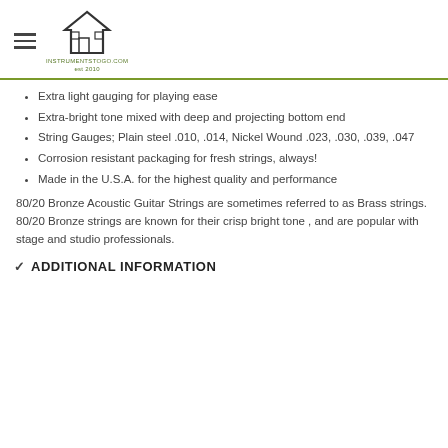instrumentstogo.com est 2010
Extra light gauging for playing ease
Extra-bright tone mixed with deep and projecting bottom end
String Gauges; Plain steel .010, .014, Nickel Wound .023, .030, .039, .047
Corrosion resistant packaging for fresh strings, always!
Made in the U.S.A. for the highest quality and performance
80/20 Bronze Acoustic Guitar Strings are sometimes referred to as Brass strings. 80/20 Bronze strings are known for their crisp bright tone , and are popular with stage and studio professionals.
ADDITIONAL INFORMATION